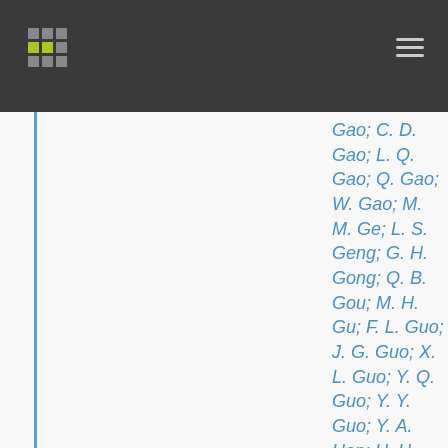Gao; C. D. Gao; L. Q. Gao; Q. Gao; W. Gao; M. M. Ge; L. S. Geng; G. H. Gong; Q. B. Gou; M. H. Gu; F. L. Guo; J. G. Guo; X. L. Guo; Y. Q. Guo; Y. Y. Guo; Y. A. Han; H. H. He; H. N. He; J. C. He; S. L. He; X. B. He; Y. He; M. Heller; Y. K. Hor; C. Hou; H. B. Hu;